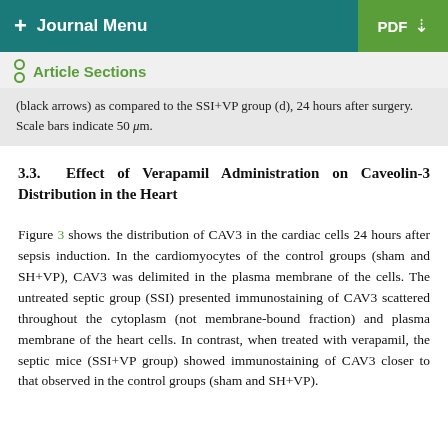+ Journal Menu   PDF
Article Sections
(black arrows) as compared to the SSI+VP group (d), 24 hours after surgery. Scale bars indicate 50 μm.
3.3. Effect of Verapamil Administration on Caveolin-3 Distribution in the Heart
Figure 3 shows the distribution of CAV3 in the cardiac cells 24 hours after sepsis induction. In the cardiomyocytes of the control groups (sham and SH+VP), CAV3 was delimited in the plasma membrane of the cells. The untreated septic group (SSI) presented immunostaining of CAV3 scattered throughout the cytoplasm (not membrane-bound fraction) and plasma membrane of the heart cells. In contrast, when treated with verapamil, the septic mice (SSI+VP group) showed immunostaining of CAV3 closer to that observed in the control groups (sham and SH+VP).